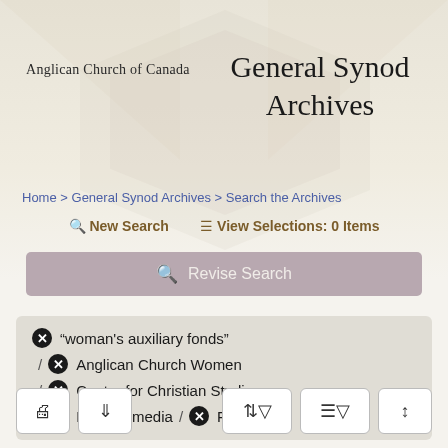Anglican Church of Canada
General Synod Archives
Home > General Synod Archives > Search the Archives
New Search   View Selections: 0 Items
Revise Search
"woman's auxiliary fonds"
/ Anglican Church Women
/ Centre for Christian Studies.
/ Multiple media  /  Fonds